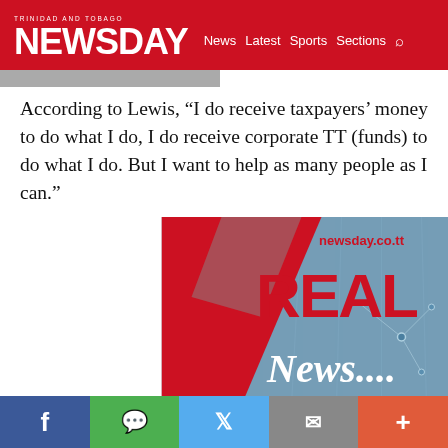TRINIDAD AND TOBAGO NEWSDAY | News  Latest  Sports  Sections
According to Lewis, “I do receive taxpayers’ money to do what I do, I do receive corporate TT (funds) to do what I do. But I want to help as many people as I can.”
[Figure (logo): Newsday REAL News advertisement banner with newsday.co.tt URL, red diagonal shape, large red REAL text, white News... text on dark blue tech network background]
Social share bar: Facebook, WhatsApp, Twitter, Email, More